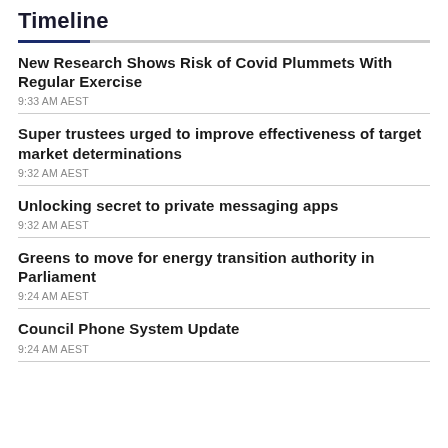Timeline
New Research Shows Risk of Covid Plummets With Regular Exercise
9:33 AM AEST
Super trustees urged to improve effectiveness of target market determinations
9:32 AM AEST
Unlocking secret to private messaging apps
9:32 AM AEST
Greens to move for energy transition authority in Parliament
9:24 AM AEST
Council Phone System Update
9:24 AM AEST